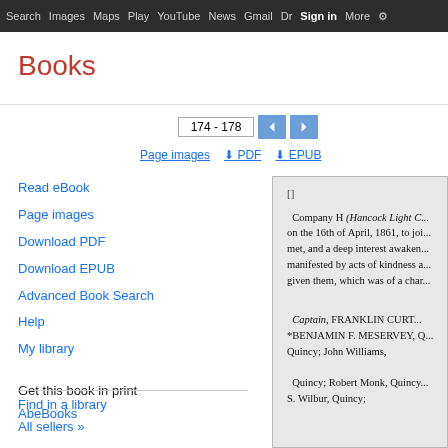Search  Images  Maps  Play  YouTube  News  Gmail  Dr  Sign in  More  ⚙
Books
174 - 178
Page images  ⬇ PDF  ⬇ EPUB
Read eBook
Page images
Download PDF
Download EPUB
Advanced Book Search
Help
My library
Get this book in print
AbeBooks
Find in a library
All sellers »
[Figure (screenshot): Scanned book page showing text about Company H (Hancock Light C...) dated April 16, 1861, listing Captain Franklin Curtis, *Benjamin F. Meservey, Quincy; John Williams, Quincy; Robert Monk, Quincy; S. Wilbur, Quincy]